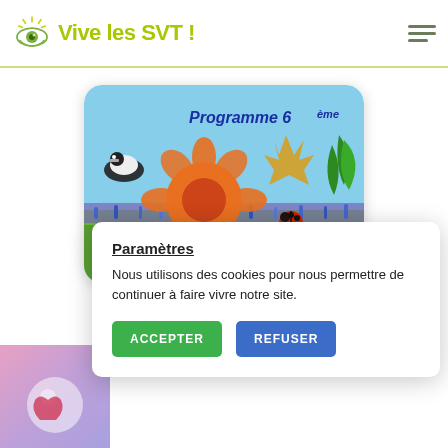Vive les SVT!
[Figure (illustration): Programme 6ème card with nature background featuring flowers, bird, ladybug, and plants]
[Figure (photo): Partial card at bottom left with purple/pink gradient background]
Paramètres
Nous utilisons des cookies pour nous permettre de continuer à faire vivre notre site.
ACCEPTER  REFUSER